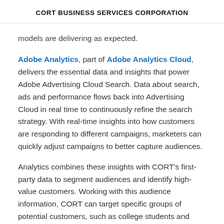CORT BUSINESS SERVICES CORPORATION
models are delivering as expected.
Adobe Analytics, part of Adobe Analytics Cloud, delivers the essential data and insights that power Adobe Advertising Cloud Search. Data about search, ads and performance flows back into Advertising Cloud in real time to continuously refine the search strategy. With real-time insights into how customers are responding to different campaigns, marketers can quickly adjust campaigns to better capture audiences.
Analytics combines these insights with CORT's first-party data to segment audiences and identify high-value customers. Working with this audience information, CORT can target specific groups of potential customers, such as college students and personalise ad copy to better connect with customers.